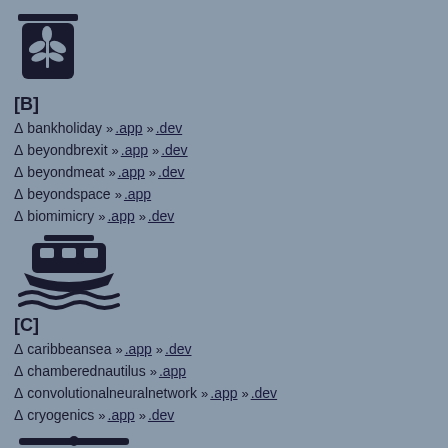[Figure (illustration): Grain/wheat jar icon — dark silhouette of a storage jar with wheat symbol on a grey background]
[B]
Δ bankholiday ».app ».dev
Δ beyondbrexit ».app ».dev
Δ beyondmeat ».app ».dev
Δ beyondspace ».app
Δ biomimicry ».app ».dev
[Figure (illustration): Ferry/boat icon — dark silhouette of a boat on water waves on a grey background]
[C]
Δ caribbeansea ».app ».dev
Δ chamberednautilus ».app
Δ convolutionalneuralnetwork ».app ».dev
Δ cryogenics ».app ».dev
[Figure (illustration): Helicopter icon — dark silhouette of a helicopter on a grey background]
[D]